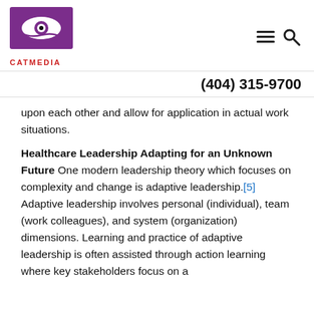[Figure (logo): CATMEDIA logo with stylized eye/cat graphic in purple and red, with text CATMEDIA below in red]
(404) 315-9700
upon each other and allow for application in actual work situations.
Healthcare Leadership Adapting for an Unknown Future
One modern leadership theory which focuses on complexity and change is adaptive leadership.[5] Adaptive leadership involves personal (individual), team (work colleagues), and system (organization) dimensions. Learning and practice of adaptive leadership is often assisted through action learning where key stakeholders focus on a